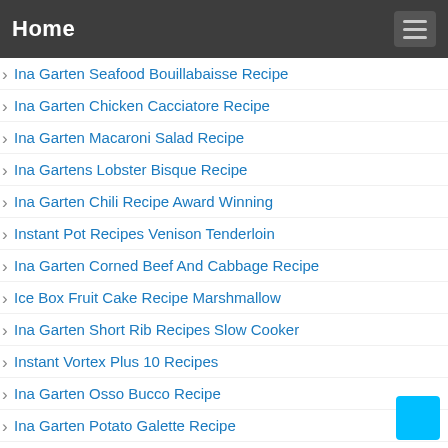Home
Ina Garten Seafood Bouillabaisse Recipe
Ina Garten Chicken Cacciatore Recipe
Ina Garten Macaroni Salad Recipe
Ina Gartens Lobster Bisque Recipe
Ina Garten Chili Recipe Award Winning
Instant Pot Recipes Venison Tenderloin
Ina Garten Corned Beef And Cabbage Recipe
Ice Box Fruit Cake Recipe Marshmallow
Ina Garten Short Rib Recipes Slow Cooker
Instant Vortex Plus 10 Recipes
Ina Garten Osso Bucco Recipe
Ina Garten Potato Galette Recipe
Ina Garten Pumpkin Muffins Recipe